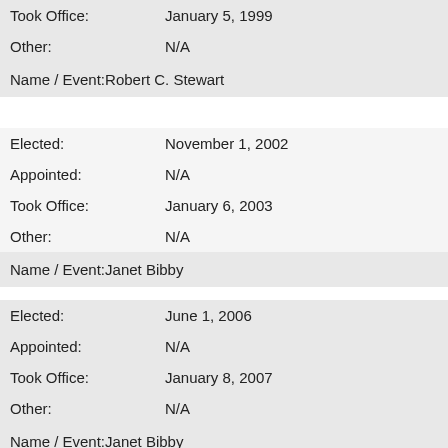Took Office: January 5, 1999
Other: N/A
Name / Event: Robert C. Stewart
Elected: November 1, 2002
Appointed: N/A
Took Office: January 6, 2003
Other: N/A
Name / Event: Janet Bibby
Elected: June 1, 2006
Appointed: N/A
Took Office: January 8, 2007
Other: N/A
Name / Event: Janet Bibby
Elected: November 1, 2010